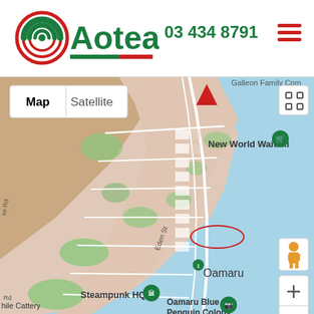[Figure (logo): Aotea logo with green spiral/wifi icon and brand name in green bold text, red and green underline stripe]
03 434 8791
[Figure (map): Google Maps view of Oamaru, New Zealand, showing coastal town layout with streets, green areas, water (blue). Visible labels: Galleon Family Comm, New World Waitaki, Eden St, Oamaru, Steampunk HQ, Oamaru Blue Penguin Colony, hile Cattery, se Rd, Rd. Red triangular marker near top center. Green map pins for New World Waitaki and Steampunk HQ. Red oval circle drawn on the map near center. Map/Satellite toggle buttons top left. Fullscreen icon top right. Pegman (orange figure) bottom right. Zoom +/- buttons bottom right.]